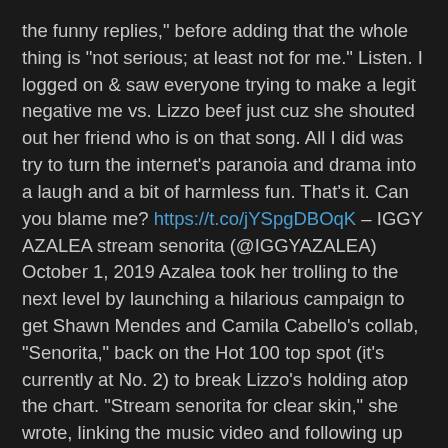the funny replies," before adding that the whole thing is "not serious; at least not for me." Listen. I logged on & saw everyone trying to make a legit negative me vs. Lizzo beef just cuz she shouted out her friend who is on that song. All I did was try to turn the internet's paranoia and drama into a laugh and a bit of harmless fun. That's it. Can you blame me? https://t.co/jYSpgDBOqK – IGGY AZALEA stream senorita (@IGGYAZALEA) October 1, 2019 Azalea took her trolling to the next level by launching a hilarious campaign to get Shawn Mendes and Camila Cabello's collab, "Senorita," back on the Hot 100 top spot (it's currently at No. 2) to break Lizzo's holding atop the chart. "Stream senorita for clear skin," she wrote, linking the music video and following up by retweeting a number of memes. She even switched her profile photo to one of the steamy couple and changed her Twitter name to "IGGY AZALEA stream senorita." (Billboard)
Jay-Z's work with the NFL is already falling short on his promise of diversity, making him look like nothing more than